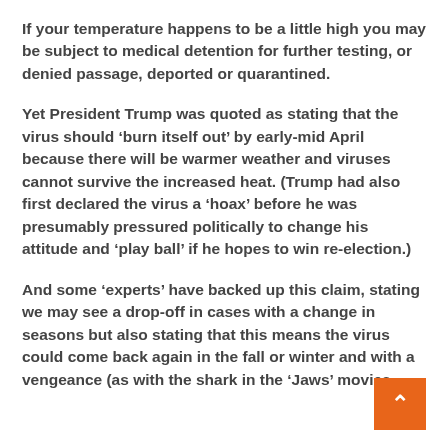If your temperature happens to be a little high you may be subject to medical detention for further testing, or denied passage, deported or quarantined.
Yet President Trump was quoted as stating that the virus should ‘burn itself out’ by early-mid April because there will be warmer weather and viruses cannot survive the increased heat. (Trump had also first declared the virus a ‘hoax’ before he was presumably pressured politically to change his attitude and ‘play ball’ if he hopes to win re-election.)
And some ‘experts’ have backed up this claim, stating we may see a drop-off in cases with a change in seasons but also stating that this means the virus could come back again in the fall or winter and with a vengeance (as with the shark in the ‘Jaws’ movies,